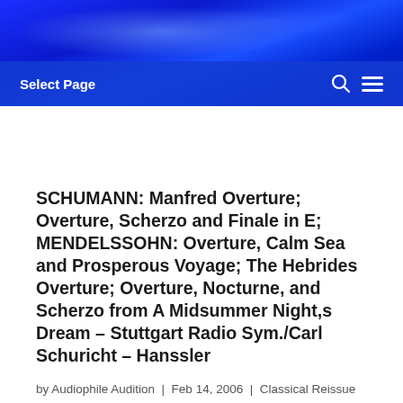Select Page
SCHUMANN: Manfred Overture; Overture, Scherzo and Finale in E; MENDELSSOHN: Overture, Calm Sea and Prosperous Voyage; The Hebrides Overture; Overture, Nocturne, and Scherzo from A Midsummer Night,s Dream – Stuttgart Radio Sym./Carl Schuricht – Hanssler
by Audiophile Audition | Feb 14, 2006 | Classical Reissue Reviews | 0 comments